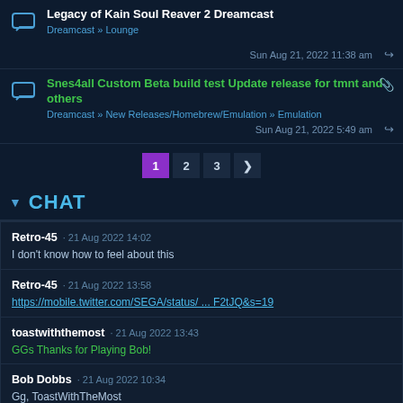Legacy of Kain Soul Reaver 2 Dreamcast — Dreamcast » Lounge — Sun Aug 21, 2022 11:38 am
Snes4all Custom Beta build test Update release for tmnt and others — Dreamcast » New Releases/Homebrew/Emulation » Emulation — Sun Aug 21, 2022 5:49 am
Page 1
Page 2
Page 3
CHAT
Retro-45 · 21 Aug 2022 14:02
I don't know how to feel about this
Retro-45 · 21 Aug 2022 13:58
https://mobile.twitter.com/SEGA/status/ ... F2tJQ&s=19
toastwiththemost · 21 Aug 2022 13:43
GGs Thanks for Playing Bob!
Bob Dobbs · 21 Aug 2022 10:34
Gg, ToastWithTheMost
Bob Dobbs · 20 Aug 2022 21:48
Still hanging in lobby